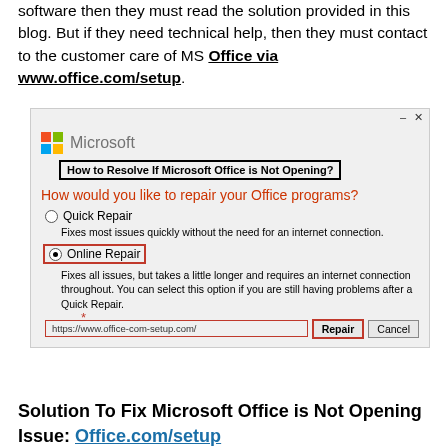software then they must read the solution provided in this blog. But if they need technical help, then they must contact to the customer care of MS Office via www.office.com/setup.
[Figure (screenshot): Microsoft Office repair dialog screenshot showing 'How to Resolve If Microsoft Office is Not Opening?' with Quick Repair and Online Repair options. Online Repair is selected and highlighted with a red box. Bottom shows a URL 'https://www.office-com-setup.com/' and Repair/Cancel buttons. Window controls (minimize, close) visible at top right.]
Solution To Fix Microsoft Office is Not Opening Issue: Office.com/setup